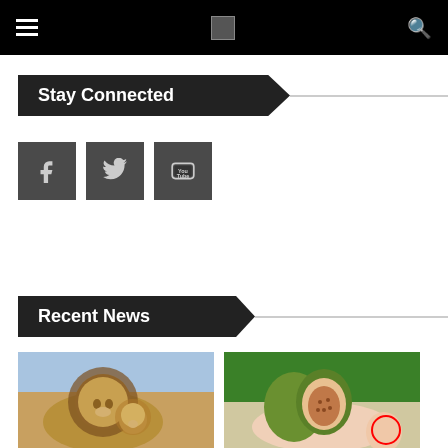Navigation bar with hamburger menu, logo, and search icon
Stay Connected
[Figure (other): Social media icons: Facebook, Twitter, YouTube]
Recent News
[Figure (photo): A lion nuzzling a lion cub in the wild]
[Figure (photo): A hand holding a sliced fig with a red circle annotation on the thumb]